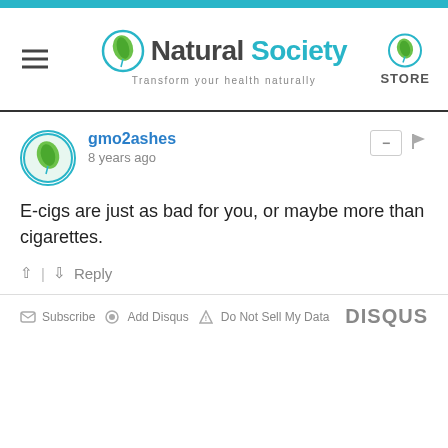Natural Society — Transform your health naturally | STORE
gmo2ashes
8 years ago
E-cigs are just as bad for you, or maybe more than cigarettes.
↑ | ↓  Reply
Subscribe  Add Disqus  Do Not Sell My Data  DISQUS